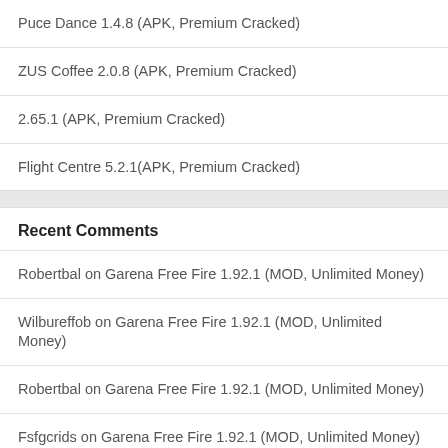Puce Dance 1.4.8 (APK, Premium Cracked)
ZUS Coffee 2.0.8 (APK, Premium Cracked)
小紅書 2.65.1 (APK, Premium Cracked)
Flight Centre 5.2.1(APK, Premium Cracked)
Recent Comments
Robertbal on Garena Free Fire 1.92.1 (MOD, Unlimited Money)
Wilbureffob on Garena Free Fire 1.92.1 (MOD, Unlimited Money)
Robertbal on Garena Free Fire 1.92.1 (MOD, Unlimited Money)
Fsfgcrids on Garena Free Fire 1.92.1 (MOD, Unlimited Money)
Fgrscrids on Garena Free Fire 1.92.1 (MOD, Unlimited Money)
Copyright© 2020 Eiblogs